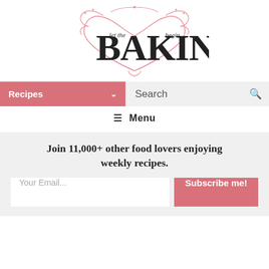[Figure (logo): Let the BAKING begin logo with decorative pink heart/vine ornament surrounding large serif BAKING text, with 'let the' and 'begin' in smaller text]
Recipes ∨
Search 🔍
☰ Menu
Join 11,000+ other food lovers enjoying weekly recipes.
Your Email...
Subscribe me!